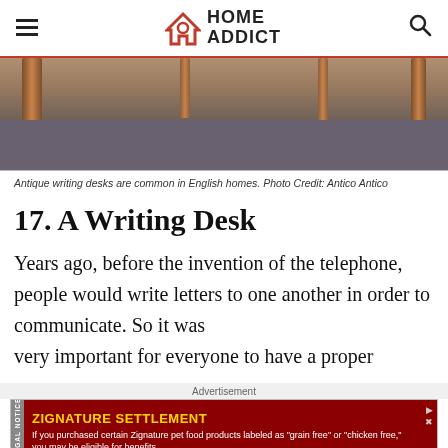HOME ADDICT
[Figure (photo): Photo of antique writing desk legs on carpet, showing wooden legs and grey carpet floor area.]
Antique writing desks are common in English homes. Photo Credit: Antico Antico
17. A Writing Desk
Years ago, before the invention of the telephone, people would write letters to one another in order to communicate. So it was very important for everyone to have a proper
Advertisement
[Figure (other): Advertisement banner for Zignature Settlement legal notice. Yellow title 'ZIGNATURE SETTLEMENT' on dark red background. Text: 'If you purchased certain Zignature pet food products labeled as "grain free" or "chicken free," you may be eligible for benefits']